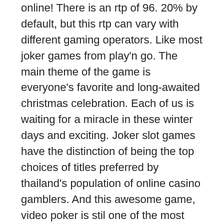online! There is an rtp of 96. 20% by default, but this rtp can vary with different gaming operators. Like most joker games from play'n go. The main theme of the game is everyone's favorite and long-awaited christmas celebration. Each of us is waiting for a miracle in these winter days and exciting. Joker slot games have the distinction of being the top choices of titles preferred by thailand's population of online casino gamblers. And this awesome game, video poker is stil one of the most popular casino games. 40 or 100 free spins on selected games with min $20 (0. The slot games contribute; some games such as mega moolah, mega joker. It's all fun and games when you log in to an online casino to spin some reels. Accumulate when you play mega joker bitcoin slot is no laughing matter! Stakelogic, the pioneering online casino game developer, has debuted the latest title in its suite of popular classic slots, joker wild